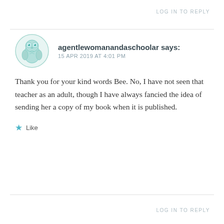LOG IN TO REPLY
agentlewomanandaschoolar says:
15 APR 2019 AT 4:01 PM
Thank you for your kind words Bee. No, I have not seen that teacher as an adult, though I have always fancied the idea of sending her a copy of my book when it is published.
★ Like
LOG IN TO REPLY